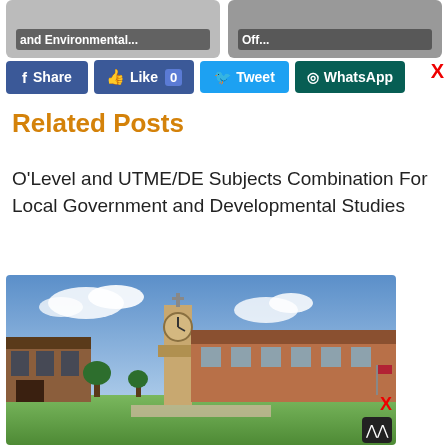[Figure (screenshot): Two truncated article card thumbnails with dark overlay text: 'and Environmental...' and 'Off...']
[Figure (screenshot): Social share buttons row: Share (Facebook), Like 0 (Facebook), Tweet (Twitter), WhatsApp, and an X close button]
Related Posts
O'Level and UTME/DE Subjects Combination For Local Government and Developmental Studies
[Figure (photo): Photo of a university campus with a clock tower, brick buildings, blue sky and clouds]